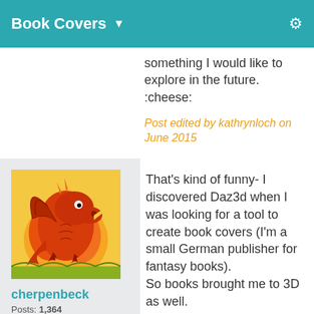Book Covers
something I would like to explore in the future. :cheese:
Post edited by kathrynloch on June 2015
[Figure (illustration): Dragon illustration avatar – orange and red dragon on yellow background]
cherpenbeck
Posts: 1,364
June 2015
That's kind of funny- I discovered Daz3d when I was looking for a tool to create book covers (I'm a small German publisher for fantasy books).
So books brought me to 3D as well.
[Figure (illustration): Partial avatar of a character with pink circular face on brown background]
Thanks, KathrynLoch for the interesting summary of your